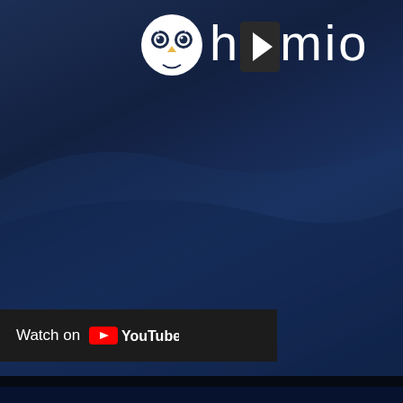[Figure (screenshot): Humio brand logo with owl icon and text 'humio' in white on dark navy background, partially cropped. Below is a YouTube 'Watch on YouTube' bar.]
big updates
om GOTO in occasional email updates, including new offers and top-rated content.
your information with anyone